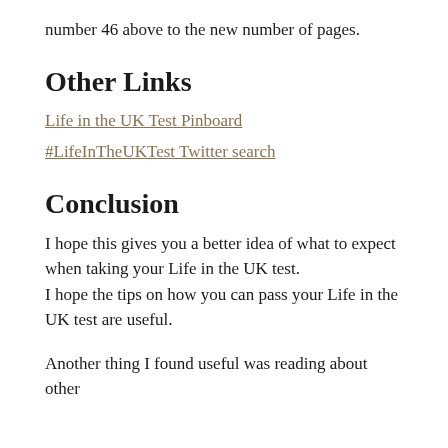number 46 above to the new number of pages.
Other Links
Life in the UK Test Pinboard
#LifeInTheUKTest Twitter search
Conclusion
I hope this gives you a better idea of what to expect when taking your Life in the UK test.
I hope the tips on how you can pass your Life in the UK test are useful.
Another thing I found useful was reading about other